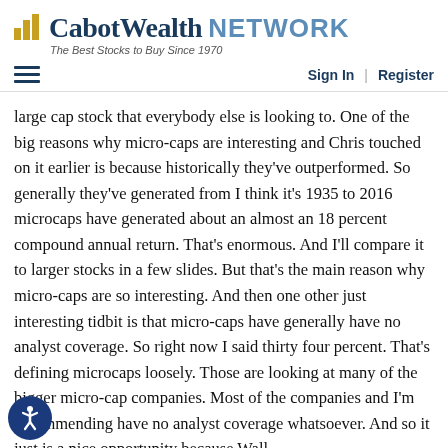[Figure (logo): Cabot Wealth Network logo with bar chart icon and tagline 'The Best Stocks to Buy Since 1970']
Sign In | Register
large cap stock that everybody else is looking to. One of the big reasons why micro-caps are interesting and Chris touched on it earlier is because historically they've outperformed. So generally they've generated from I think it's 1935 to 2016 microcaps have generated about an almost an 18 percent compound annual return. That's enormous. And I'll compare it to larger stocks in a few slides. But that's the main reason why micro-caps are so interesting. And then one other just interesting tidbit is that micro-caps have generally have no analyst coverage. So right now I said thirty four percent. That's defining microcaps loosely. Those are looking at many of the bigger micro-cap companies. Most of the companies and I'm recommending have no analyst coverage whatsoever. And so it just is a nice opportunity because Wall